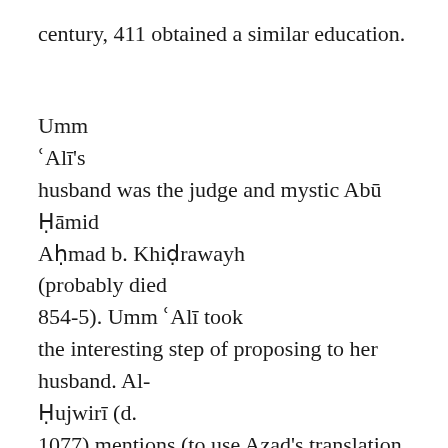century, 411 obtained a similar education.
Umm ʿAlī's husband was the judge and mystic Abū Ḥāmid Aḥmad b. Khiḍrawayh (probably died 854-5). Umm ʿAlī took the interesting step of proposing to her husband. Al-Ḥujwirī (d. 1077) mentions (to use Azad's translation, the first note in brackets is mine):